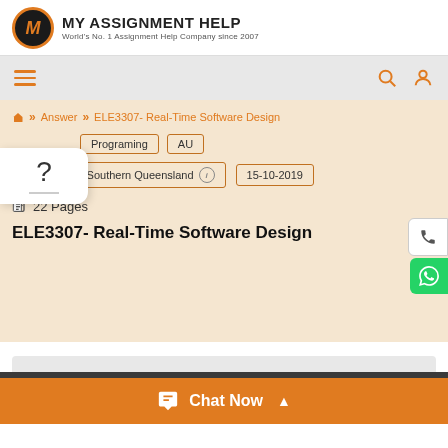MY ASSIGNMENT HELP - World's No. 1 Assignment Help Company since 2007
Answer >> ELE3307- Real-Time Software Design
Programing | AU
University of Southern Queensland | 15-10-2019
22 Pages
ELE3307- Real-Time Software Design
Chat Now